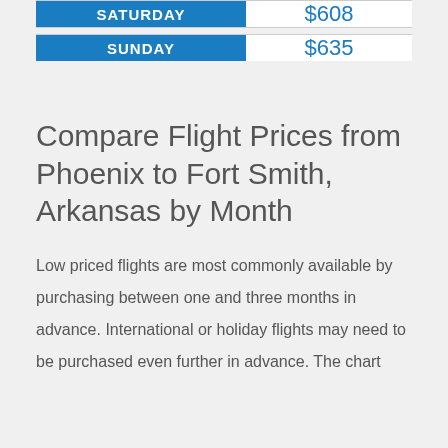| Day | Price |
| --- | --- |
| SATURDAY | $608 |
| SUNDAY | $635 |
Compare Flight Prices from Phoenix to Fort Smith, Arkansas by Month
Low priced flights are most commonly available by purchasing between one and three months in advance. International or holiday flights may need to be purchased even further in advance. The chart